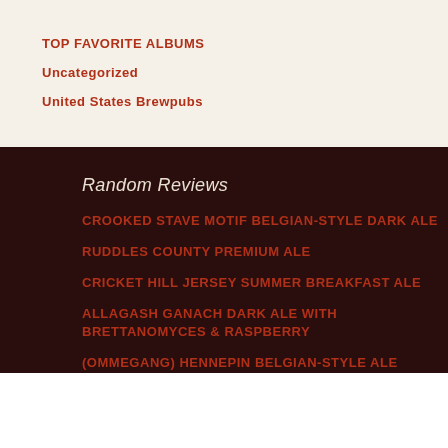TOP FAVORITE ALBUMS
Uncategorized
United States Brewpubs
Random Reviews
CROOKED STAVE MOTIF BELGIAN-STYLE DARK ALE
RUDDLES COUNTY PREMIUM ALE
CRICKET HILL JERSEY SUMMER BREAKFAST ALE
ALLAGASH GANACH DARK ALE WITH BRETTANOMYCES & RASPBERRY
(OMMEGANG) HENNEPIN BELGIAN-STYLE ALE